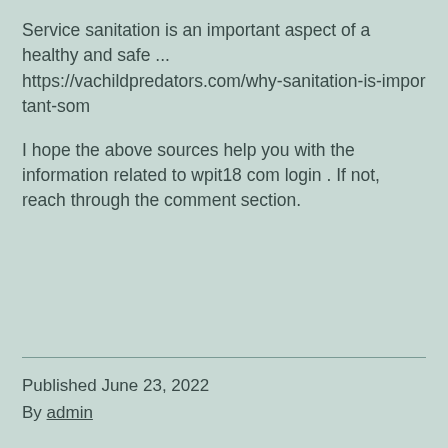Service sanitation is an important aspect of a healthy and safe ... https://vachildpredators.com/why-sanitation-is-important-som
I hope the above sources help you with the information related to wpit18 com login . If not, reach through the comment section.
Published June 23, 2022
By admin